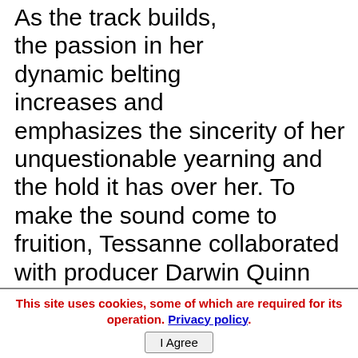As the track builds, the passion in her dynamic belting increases and emphasizes the sincerity of her unquestionable yearning and the hold it has over her. To make the sound come to fruition, Tessanne collaborated with producer Darwin Quinn (Lil'C), whose tracks have charted #1 on Billboard and recent credits include Tyga, TI, Young Jeezy and many more.
This site uses cookies, some of which are required for its operation. Privacy policy. I Agree